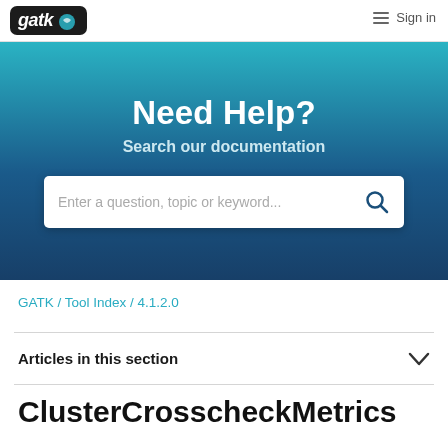[Figure (logo): GATK logo with stylized text in black rounded rectangle with blue bird/wave icon]
Sign in
[Figure (screenshot): Hero banner with teal-to-dark-blue gradient background containing 'Need Help?' heading and search bar]
Need Help?
Search our documentation
Enter a question, topic or keyword...
GATK / Tool Index / 4.1.2.0
Articles in this section
ClusterCrosscheckMetrics